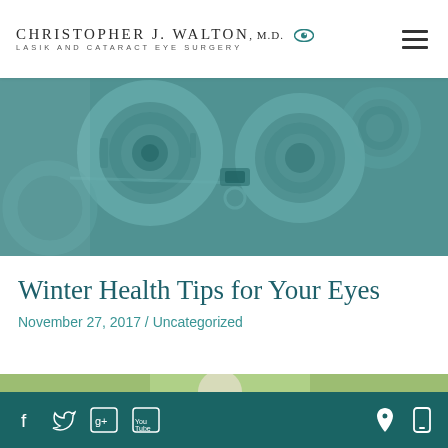Christopher J. Walton, M.D. — Lasik and Cataract Eye Surgery
[Figure (photo): Close-up photograph of optometry phoropter/refractor equipment with teal/green tint overlay]
Winter Health Tips for Your Eyes
November 27, 2017 / Uncategorized
[Figure (photo): Outdoor photo of elderly woman with white/grey hair, green foliage in background]
Social media icons: Facebook, Twitter, Google+, YouTube; Location pin icon, mobile phone icon